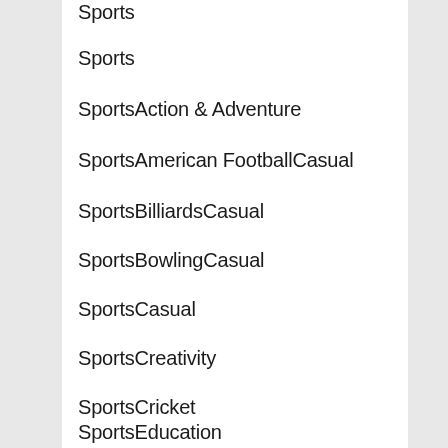Sports
Sports
SportsAction & Adventure
SportsAmerican FootballCasual
SportsBilliardsCasual
SportsBowlingCasual
SportsCasual
SportsCreativity
SportsCricket
SportsEducation